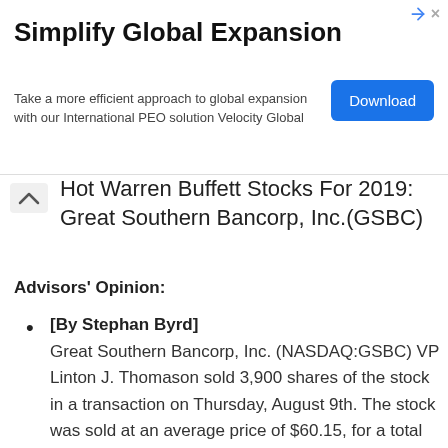[Figure (other): Advertisement banner: 'Simplify Global Expansion' with Download button]
Hot Warren Buffett Stocks For 2019: Great Southern Bancorp, Inc.(GSBC)
Advisors' Opinion:
[By Stephan Byrd] Great Southern Bancorp, Inc. (NASDAQ:GSBC) VP Linton J. Thomason sold 3,900 shares of the stock in a transaction on Thursday, August 9th. The stock was sold at an average price of $60.15, for a total value of $234,585.00. Following the transaction, the vice president now directly owns 7,278 shares in the company, valued at approximately $437,771.70. The transaction was disclosed in a filing with the SEC,